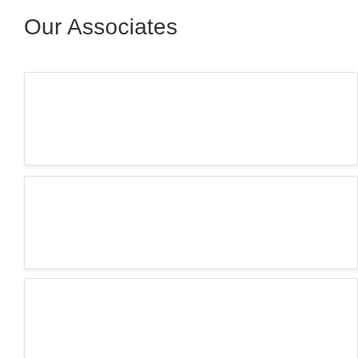Our Associates
[Figure (other): Empty card/panel 1 - white rectangle with light border and subtle shadow]
[Figure (other): Empty card/panel 2 - white rectangle with light border and subtle shadow]
[Figure (other): Empty card/panel 3 - white rectangle with light border and subtle shadow]
[Figure (other): Empty card/panel 4 (partially visible) - white rectangle with light border and subtle shadow]